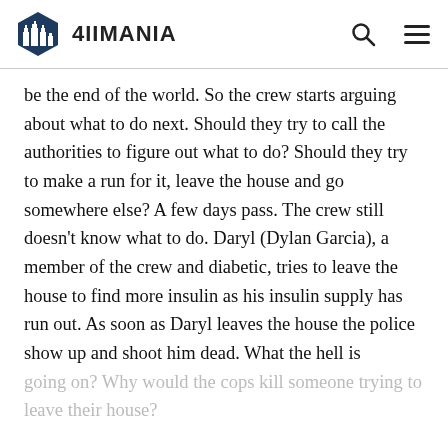4IIMANIA
be the end of the world. So the crew starts arguing about what to do next. Should they try to call the authorities to figure out what to do? Should they try to make a run for it, leave the house and go somewhere else? A few days pass. The crew still doesn’t know what to do. Daryl (Dylan Garcia), a member of the crew and diabetic, tries to leave the house to find more insulin as his insulin supply has run out. As soon as Daryl leaves the house the police show up and shoot him dead. What the hell is going on? Why would the cops kill someone trying to leave their house?